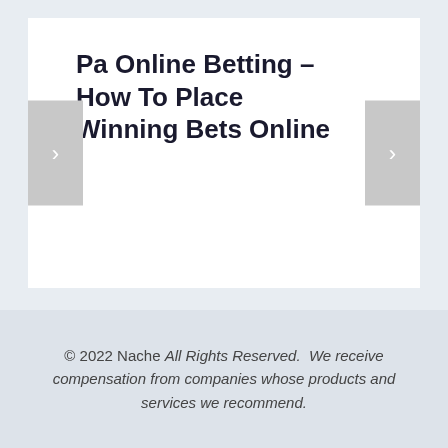Pa Online Betting – How To Place Winning Bets Online
© 2022 Nache All Rights Reserved.  We receive compensation from companies whose products and services we recommend.